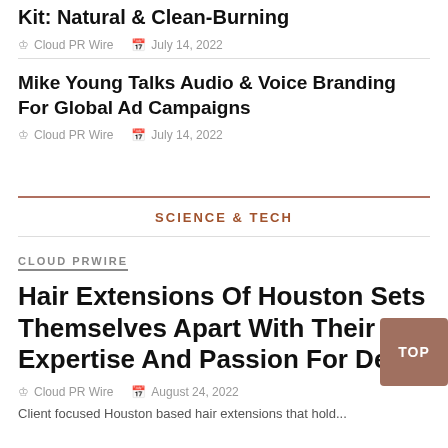Kit: Natural & Clean-Burning
Cloud PR Wire  July 14, 2022
Mike Young Talks Audio & Voice Branding For Global Ad Campaigns
Cloud PR Wire  July 14, 2022
SCIENCE & TECH
CLOUD PRWIRE
Hair Extensions Of Houston Sets Themselves Apart With Their Expertise And Passion For Detail
Cloud PR Wire  August 24, 2022
Client focused Houston based hair extensions that hold...